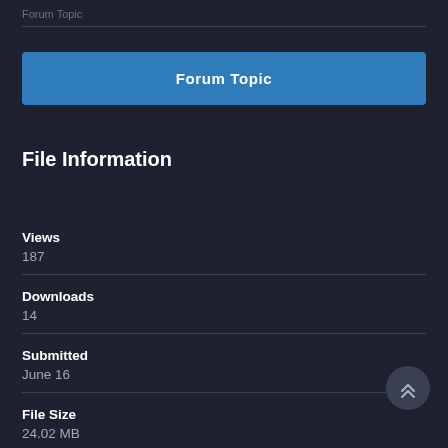Forum Topic
File Information
Views
187
Downloads
14
Submitted
June 16
File Size
24.02 MB